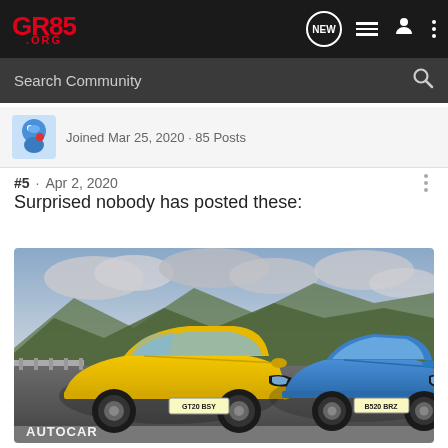GR86.ORG — navigation bar with NEW, list, user, menu icons and Search Community bar
Joined Mar 25, 2020 · 85 Posts
#5 · Apr 2, 2020
Surprised nobody has posted these:
[Figure (photo): Two sports cars side by side on a road with mountains and cloudy sky in background. A yellow GT86 on the left with plate GT20 BSY and a blue BRZ on the right with plate B520 BRZ. AUTOCAR watermark in bottom left.]